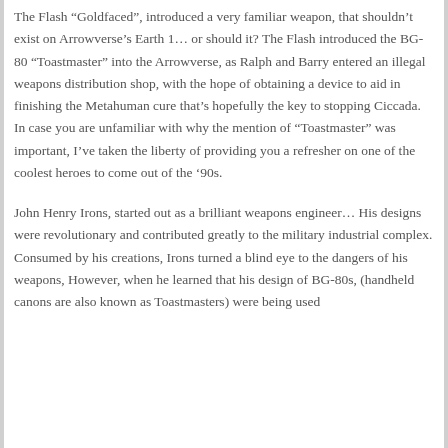The Flash “Goldfaced”, introduced a very familiar weapon, that shouldn’t exist on Arrowverse’s Earth 1… or should it? The Flash introduced the BG-80 “Toastmaster” into the Arrowverse, as Ralph and Barry entered an illegal weapons distribution shop, with the hope of obtaining a device to aid in finishing the Metahuman cure that’s hopefully the key to stopping Ciccada.  In case you are unfamiliar with why the mention of “Toastmaster” was important, I’ve taken the liberty of providing you a refresher on one of the coolest heroes to come out of the ’90s.
John Henry Irons, started out as a brilliant weapons engineer… His designs were revolutionary and contributed greatly to the military industrial complex. Consumed by his creations, Irons turned a blind eye to the dangers of his weapons, However, when he learned that his design of BG-80s, (handheld canons are also known as Toastmasters) were being used